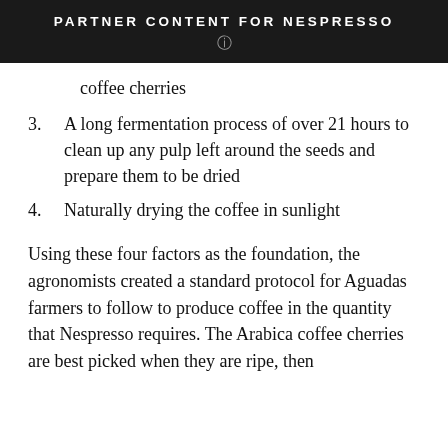PARTNER CONTENT FOR NESPRESSO
coffee cherries
3. A long fermentation process of over 21 hours to clean up any pulp left around the seeds and prepare them to be dried
4. Naturally drying the coffee in sunlight
Using these four factors as the foundation, the agronomists created a standard protocol for Aguadas farmers to follow to produce coffee in the quantity that Nespresso requires. The Arabica coffee cherries are best picked when they are ripe, then